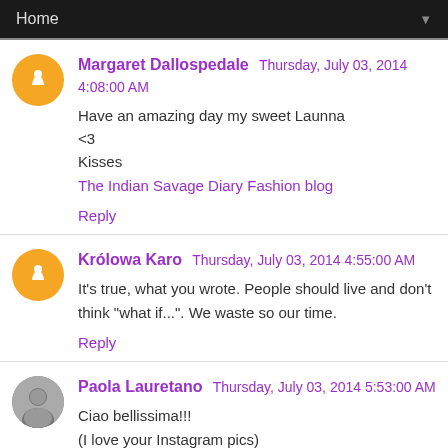Home
Margaret Dallospedale  Thursday, July 03, 2014 4:08:00 AM
Have an amazing day my sweet Launna
<3
Kisses
The Indian Savage Diary Fashion blog
Reply
Królowa Karo  Thursday, July 03, 2014 4:55:00 AM
It's true, what you wrote. People should live and don't think "what if...". We waste so our time.
Reply
Paola Lauretano  Thursday, July 03, 2014 5:53:00 AM
Ciao bellissima!!!
(I love your Instagram pics)